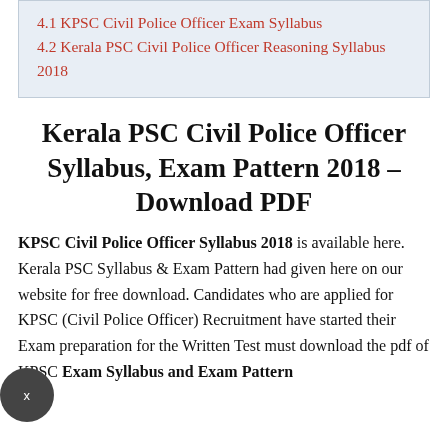4.1 KPSC Civil Police Officer Exam Syllabus
4.2 Kerala PSC Civil Police Officer Reasoning Syllabus 2018
Kerala PSC Civil Police Officer Syllabus, Exam Pattern 2018 – Download PDF
KPSC Civil Police Officer Syllabus 2018 is available here. Kerala PSC Syllabus & Exam Pattern had given here on our website for free download. Candidates who are applied for KPSC (Civil Police Officer) Recruitment have started their Exam preparation for the Written Test must download the pdf of KPSC Exam Syllabus and Exam Pattern